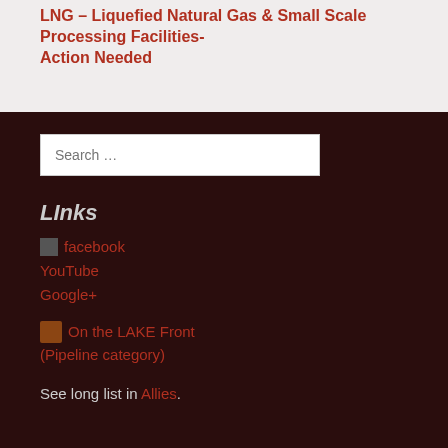LNG – Liquefied Natural Gas & Small Scale Processing Facilities- Action Needed
LInks
facebook
YouTube
Google+
On the LAKE Front (Pipeline category)
See long list in Allies.